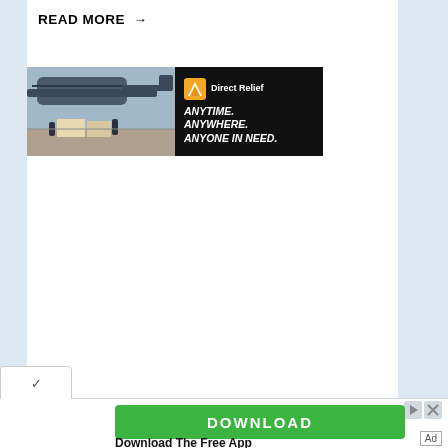READ MORE →
[Figure (photo): DirectRelief advertisement banner showing military personnel unloading cargo from a helicopter on the left, and on the right a dark background with DirectRelief logo and tagline 'ANYTIME. ANYWHERE. ANYONE IN NEED.']
[Figure (screenshot): Bottom UI panel showing a green DOWNLOAD button advertisement with 'Download The Free App' label below, and ad controls (play/close icons) in the upper right corner. An 'Ad' label appears at bottom right.]